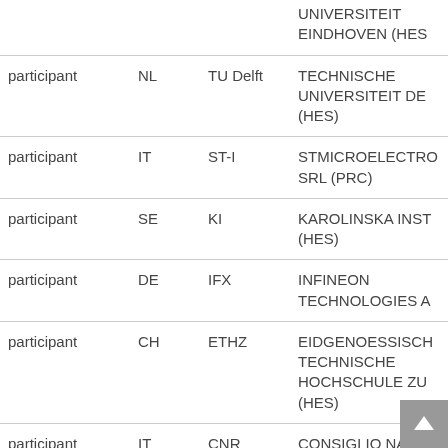| Role | Country | Short Name | Full Name |
| --- | --- | --- | --- |
|  |  |  | UNIVERSITEIT EINDHOVEN (HES |
| participant | NL | TU Delft | TECHNISCHE UNIVERSITEIT DE (HES) |
| participant | IT | ST-I | STMICROELECTRO SRL (PRC) |
| participant | SE | KI | KAROLINSKA INST (HES) |
| participant | DE | IFX | INFINEON TECHNOLOGIES A |
| participant | CH | ETHZ | EIDGENOESSISCH TECHNISCHE HOCHSCHULE ZU (HES) |
| participant | IT | CNR | CONSIGLIO NAZIO |